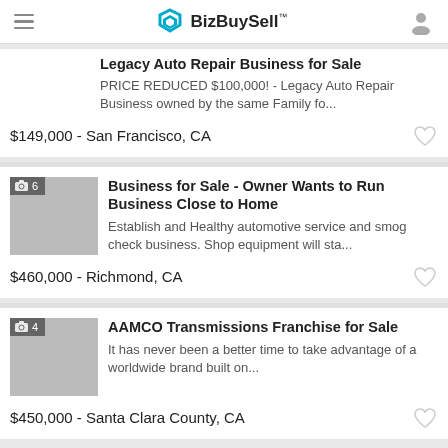BizBuySell
Legacy Auto Repair Business for Sale
PRICE REDUCED $100,000! - Legacy Auto Repair Business owned by the same Family fo...
$149,000 - San Francisco, CA
Business for Sale - Owner Wants to Run Business Close to Home
Establish and Healthy automotive service and smog check business. Shop equipment will sta...
$460,000 - Richmond, CA
AAMCO Transmissions Franchise for Sale
It has never been a better time to take advantage of a worldwide brand built on...
$450,000 - Santa Clara County, CA